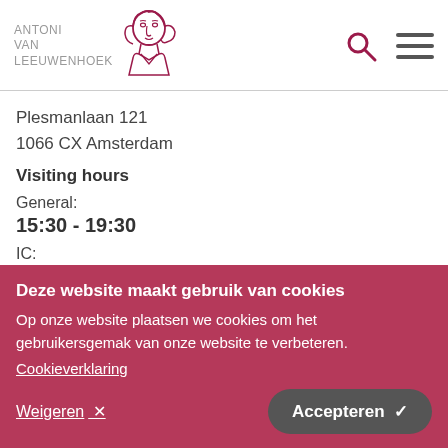[Figure (logo): Antoni van Leeuwenhoek logo with illustrated portrait figure in dark red/crimson outline]
Plesmanlaan 121
1066 CX Amsterdam
Visiting hours
General:
15:30 - 19:30
IC:
10:00 - 22:00
Deze website maakt gebruik van cookies
Op onze website plaatsen we cookies om het gebruikersgemak van onze website te verbeteren.
Cookieverklaring
Weigeren ✕
Accepteren ✓